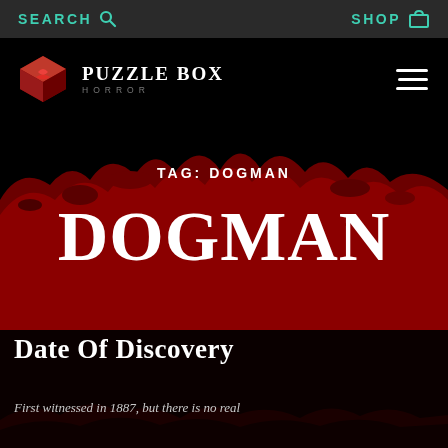SEARCH   SHOP
[Figure (logo): Puzzle Box Horror logo with red cube icon and text]
TAG: DOGMAN
DOGMAN
DATE OF DISCOVERY
First witnessed in 1887, but there is no real